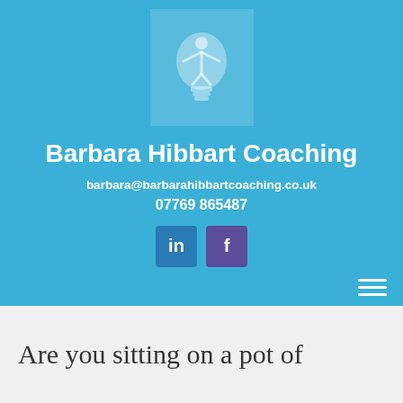[Figure (logo): Barbara Hibbart Coaching logo: lightbulb with a person figure inside, on a light blue background]
Barbara Hibbart Coaching
barbara@barbarahibbartcoaching.co.uk
07769 865487
[Figure (other): LinkedIn and Facebook social media icon buttons]
Are you sitting on a pot of